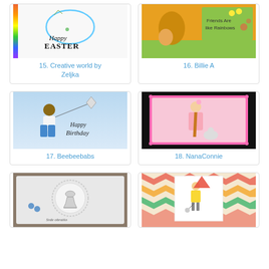[Figure (photo): Happy Easter card with rainbow oval and tree branch]
15. Creative world by Zeljka
[Figure (photo): Friends Are like Rainbows card with cartoon animals]
16. Billie A
[Figure (photo): Happy Birthday card with boy flying a kite]
17. Beebeebabs
[Figure (photo): Pink framed card with fairy girl and cat]
18. NanaConnie
[Figure (photo): White embossed card with chalice and flowers, Srde obratio text]
[Figure (photo): Chevron patterned card with girl in red coat and mouse]